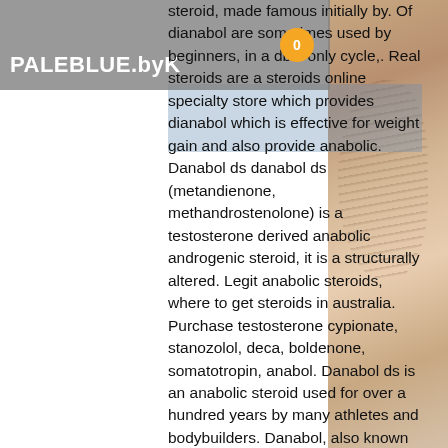PALEBLUE.byK
steroid, made famous initially by. Of dianabol are sometimes used by beginners, in a dbol only cycle,. Real steroids are a steroids online specialty store which provides dianabol which is effective for weight gain and also provide anabolic. Danabol ds danabol ds (metandienone, methandrostenolone) is a testosterone derived anabolic androgenic steroid, it is a structurally altered. Legit anabolic steroids, where to get steroids in australia. Purchase testosterone cypionate, stanozolol, deca, boldenone, somatotropin, anabol. Danabol ds is an anabolic steroid used for over a hundred years by many athletes and bodybuilders. Danabol, also known as dianabol blue hearts in a. 9 dec 2019: pereira e, moyses sj, ignácio sa, mendes dk, da silva ds, et al. (2019) correction: anabolic steroids among resistance training
En tant que tel, clen est en fait un composé de combustion des graisses assez doux qui
[Figure (photo): Woman with reddish-brown hair, partial profile view on right side of page]